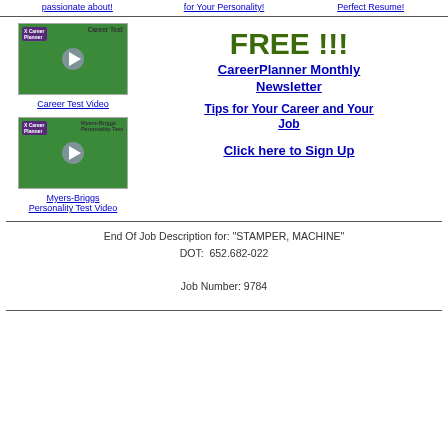passionate about!
for Your Personality!
Perfect Resume!
[Figure (screenshot): Video thumbnail showing a man on green background with play button, labeled 'Career Test']
Career Test Video
[Figure (screenshot): Video thumbnail showing a younger man on green background with play button, labeled 'Myers-Briggs Personality Test']
Myers-Briggs Personality Test Video
FREE !!!
CareerPlanner Monthly Newsletter
Tips for Your Career and Your Job
Click here to Sign Up
End Of Job Description for: "STAMPER, MACHINE"
DOT:  652.682-022

Job Number: 9784